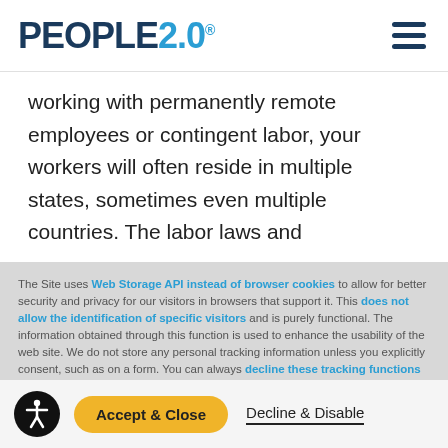PEOPLE2.0®
working with permanently remote employees or contingent labor, your workers will often reside in multiple states, sometimes even multiple countries. The labor laws and
The Site uses Web Storage API instead of browser cookies to allow for better security and privacy for our visitors in browsers that support it. This does not allow the identification of specific visitors and is purely functional. The information obtained through this function is used to enhance the usability of the web site. We do not store any personal tracking information unless you explicitly consent, such as on a form. You can always decline these tracking functions by disabling the feature. Read more on our Privacy Policy page.
Accept & Close
Decline & Disable